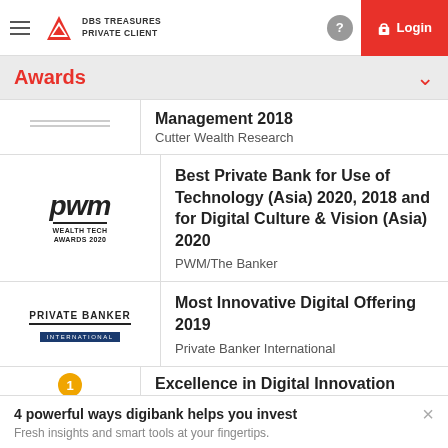DBS TREASURES PRIVATE CLIENT — Login
Awards
Management 2018 — Cutter Wealth Research
Best Private Bank for Use of Technology (Asia) 2020, 2018 and for Digital Culture & Vision (Asia) 2020 — PWM/The Banker
Most Innovative Digital Offering 2019 — Private Banker International
Excellence in Digital Innovation
4 powerful ways digibank helps you invest
Fresh insights and smart tools at your fingertips.